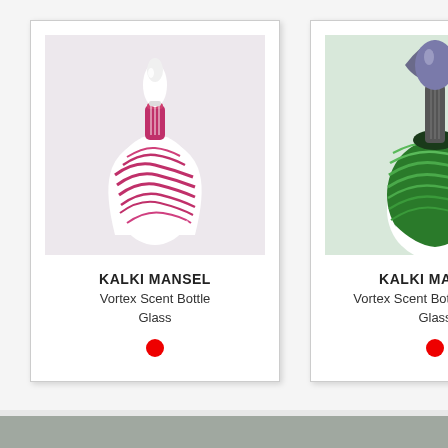[Figure (photo): Glass art scent bottle with pink/magenta vortex swirl pattern on white glass base, with white stopper, by Kalki Mansel]
KALKI MANSEL
Vortex Scent Bottle
Glass
[Figure (photo): Glass art scent bottle with green vortex swirl pattern on white glass base, with dark stopper, by Kalki Mansel (KM17...)]
KALKI MANSEL
Vortex Scent Bottle (KM17...
Glass